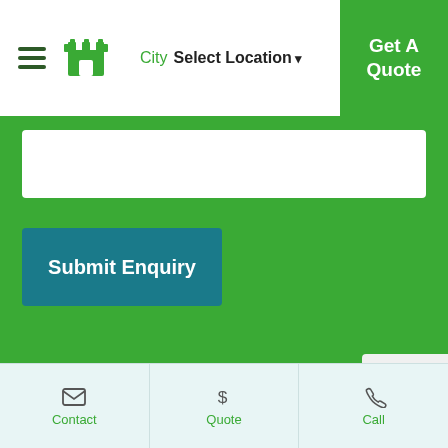City Select Location | Get A Quote
[Figure (screenshot): Green contact/enquiry form section with textarea and Submit Enquiry button]
Frequently
Contact | Quote | Call